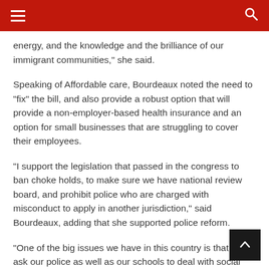Navigation header with hamburger menu and search icon
energy, and the knowledge and the brilliance of our immigrant communities," she said.
Speaking of Affordable care, Bourdeaux noted the need to “fix” the bill, and also provide a robust option that will provide a non-employer-based health insurance and an option for small businesses that are struggling to cover their employees.
“I support the legislation that passed in the congress to ban choke holds, to make sure we have national review board, and prohibit police who are charged with misconduct to apply in another jurisdiction,” said Bourdeaux, adding that she supported police reform.
“One of the big issues we have in this country is that we ask our police as well as our schools to deal with social